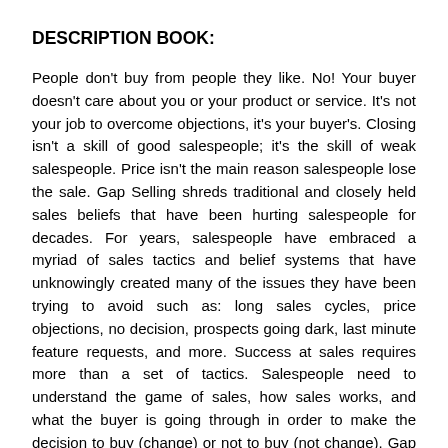DESCRIPTION BOOK:
People don't buy from people they like. No! Your buyer doesn't care about you or your product or service. It's not your job to overcome objections, it's your buyer's. Closing isn't a skill of good salespeople; it's the skill of weak salespeople. Price isn't the main reason salespeople lose the sale. Gap Selling shreds traditional and closely held sales beliefs that have been hurting salespeople for decades. For years, salespeople have embraced a myriad of sales tactics and belief systems that have unknowingly created many of the issues they have been trying to avoid such as: long sales cycles, price objections, no decision, prospects going dark, last minute feature requests, and more. Success at sales requires more than a set of tactics. Salespeople need to understand the game of sales, how sales works, and what the buyer is going through in order to make the decision to buy (change) or not to buy (not change). Gap Selling is a game-changing book designed to raise the sales IQ of